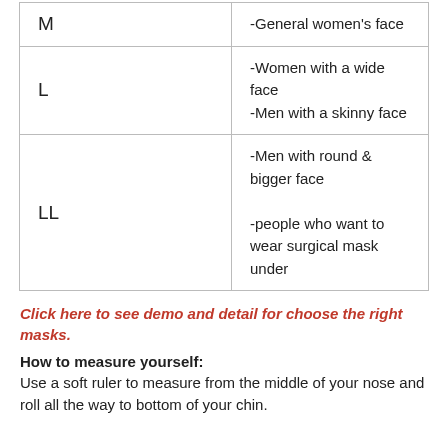| Size | Description |
| --- | --- |
| M | -General women's face |
| L | -Women with a wide face
-Men with a skinny face |
| LL | -Men with round & bigger face
-people who want to wear surgical mask under |
Click here to see demo and detail for choose the right masks.
How to measure yourself:
Use a soft ruler to measure from the middle of your nose and roll all the way to bottom of your chin.